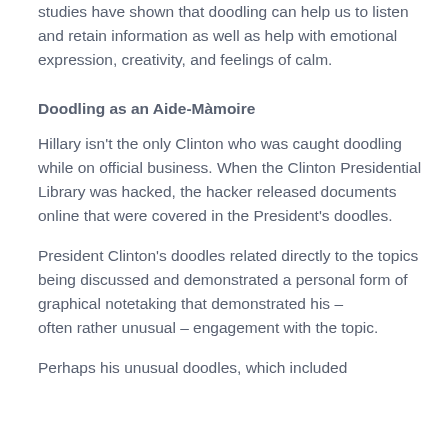studies have shown that doodling can help us to listen and retain information as well as help with emotional expression, creativity, and feelings of calm.
Doodling as an Aide-Màmoire
Hillary isn't the only Clinton who was caught doodling while on official business. When the Clinton Presidential Library was hacked, the hacker released documents online that were covered in the President's doodles.
President Clinton's doodles related directly to the topics being discussed and demonstrated a personal form of graphical notetaking that demonstrated his – often rather unusual – engagement with the topic.
Perhaps his unusual doodles, which included